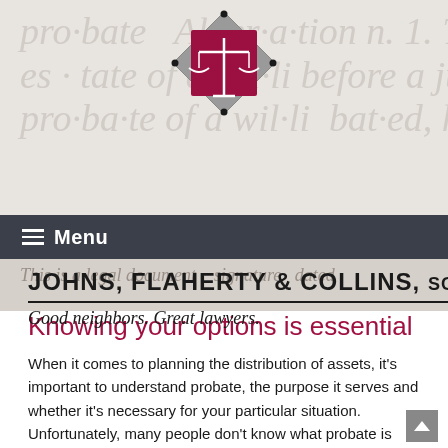[Figure (logo): Johns, Flaherty & Collins SC law firm logo — scales of justice icon in crimson/maroon square with gray diamond border]
JOHNS, FLAHERTY & COLLINS, SC
Good neighbors. Great lawyers.
[Figure (screenshot): Navigation menu bar with hamburger icon and 'Menu' text on dark slate background]
Knowing your options is essential
When it comes to planning the distribution of assets, it's important to understand probate, the purpose it serves and whether it's necessary for your particular situation. Unfortunately, many people don't know what probate is until they've lost a family member.